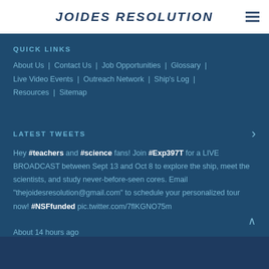JOIDES RESOLUTION
QUICK LINKS
About Us | Contact Us | Job Opportunities | Glossary | Live Video Events | Outreach Network | Ship's Log | Resources | Sitemap
LATEST TWEETS
Hey #teachers and #science fans! Join #Exp397T for a LIVE BROADCAST between Sept 13 and Oct 8 to explore the ship, meet the scientists, and study never-before-seen cores. Email "thejoidesresolution@gmail.com" to schedule your personalized tour now! #NSFfunded pic.twitter.com/7flKGNO75m
About 14 hours ago